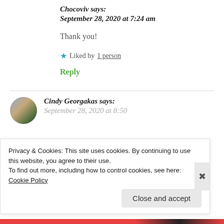Chocoviv says: September 28, 2020 at 7:24 am
Thank you!
★ Liked by 1 person
Reply
Cindy Georgakas says:
Privacy & Cookies: This site uses cookies. By continuing to use this website, you agree to their use.
To find out more, including how to control cookies, see here: Cookie Policy
Close and accept